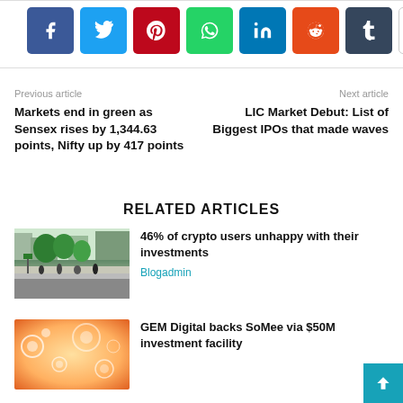[Figure (infographic): Social sharing buttons row: Facebook (blue), Twitter (light blue), Pinterest (red), WhatsApp (green), LinkedIn (dark blue), Reddit (orange), Tumblr (dark grey), More/Plus (white with border)]
Previous article
Next article
Markets end in green as Sensex rises by 1,344.63 points, Nifty up by 417 points
LIC Market Debut: List of Biggest IPOs that made waves
RELATED ARTICLES
[Figure (photo): Street photo with trees and people walking, urban setting]
46% of crypto users unhappy with their investments
Blogadmin
[Figure (photo): Colorful crypto/digital illustration with circles and icons on warm gradient background]
GEM Digital backs SoMee via $50M investment facility